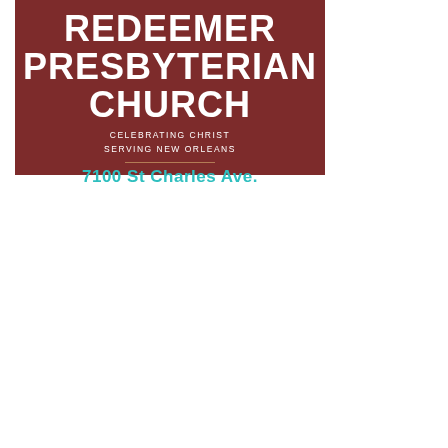[Figure (logo): Redeemer Presbyterian Church logo on dark red background with church name in large bold white text, tagline 'CELEBRATING CHRIST SERVING NEW ORLEANS' in white, a decorative divider line, and address '7100 St Charles Ave.' in teal/cyan text.]